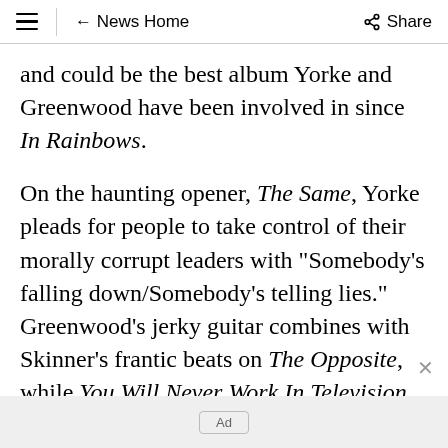≡  ← News Home  Share
and could be the best album Yorke and Greenwood have been involved in since In Rainbows.
On the haunting opener, The Same, Yorke pleads for people to take control of their morally corrupt leaders with "Somebody's falling down/Somebody's telling lies." Greenwood's jerky guitar combines with Skinner's frantic beats on The Opposite, while You Will Never Work In Television is the most
Ad